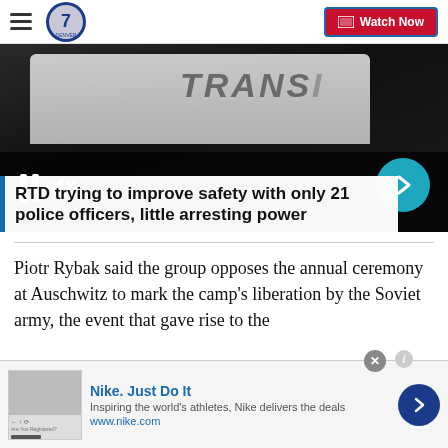Denver7 — Watch Now
[Figure (screenshot): Video thumbnail showing a transit police vehicle with overlay controls: pause button, mute icon, and forward arrow button. Text overlay reads 'TRANS' on the vehicle.]
RTD trying to improve safety with only 21 police officers, little arresting power
Piotr Rybak said the group opposes the annual ceremony at Auschwitz to mark the camp's liberation by the Soviet army, the event that gave rise to the
[Figure (screenshot): Advertisement banner for Nike. Just Do It — Inspiring the world's athletes, Nike delivers the deals — www.nike.com]